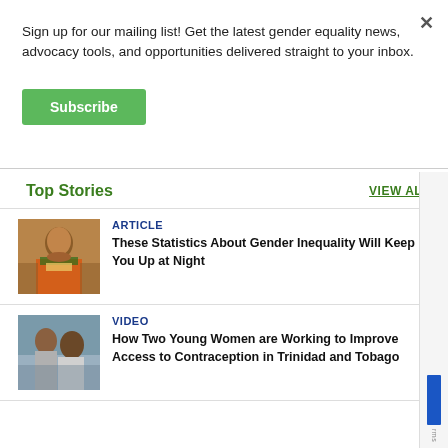Sign up for our mailing list! Get the latest gender equality news, advocacy tools, and opportunities delivered straight to your inbox.
Subscribe
Top Stories
VIEW ALL
ARTICLE
These Statistics About Gender Inequality Will Keep You Up at Night
[Figure (photo): Woman in colorful traditional African attire]
VIDEO
How Two Young Women are Working to Improve Access to Contraception in Trinidad and Tobago
[Figure (photo): Two young women sitting outdoors]